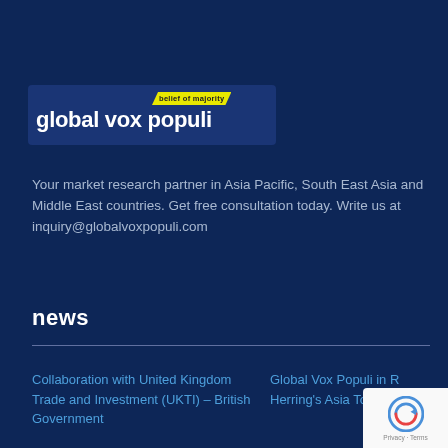[Figure (logo): Global Vox Populi logo banner with yellow 'belief of majority' badge on dark navy background]
Your market research partner in Asia Pacific, South East Asia and Middle East countries. Get free consultation today. Write us at inquiry@globalvoxpopuli.com
news
Collaboration with United Kingdom Trade and Investment (UKTI) – British Government
Global Vox Populi in R Herring's Asia Top 10